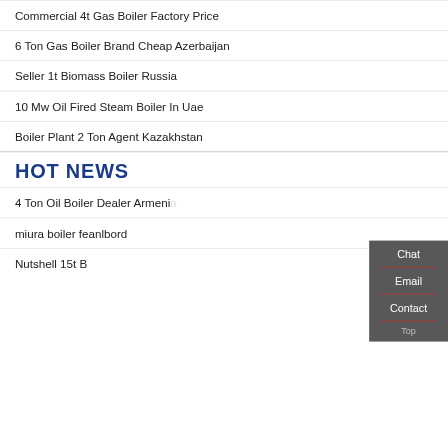Commercial 4t Gas Boiler Factory Price
6 Ton Gas Boiler Brand Cheap Azerbaijan
Seller 1t Biomass Boiler Russia
10 Mw Oil Fired Steam Boiler In Uae
Boiler Plant 2 Ton Agent Kazakhstan
HOT NEWS
4 Ton Oil Boiler Dealer Armenia
miura boiler feanlbord
Nutshell 15t
[Figure (screenshot): WhatsApp chat widget with green button and 'Contact us now!' CTA, plus sidebar with Chat, Email, Contact labels]
Hello, I'm Rachel, Welcome! we are boiler factory!